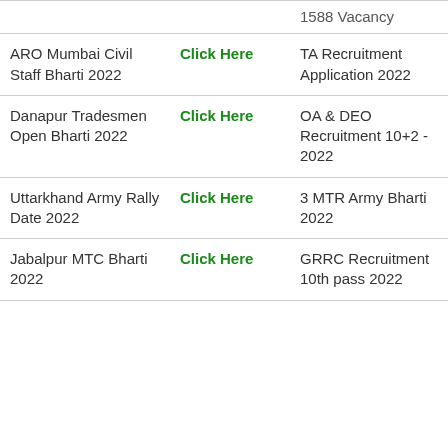| Name | Link | Name | Link |
| --- | --- | --- | --- |
| (1588 Vacancy) |  |  |  |
| ARO Mumbai Civil Staff Bharti 2022 | Click Here | TA Recruitment Application 2022 | Click Here |
| Danapur Tradesmen Open Bharti 2022 | Click Here | OA & DEO Recruitment 10+2 - 2022 | Click Here |
| Uttarkhand Army Rally Date 2022 | Click Here | 3 MTR Army Bharti 2022 | Click Here |
| Jabalpur MTC Bharti 2022 | Click Here | GRRC Recruitment 10th pass 2022 | Click Here |